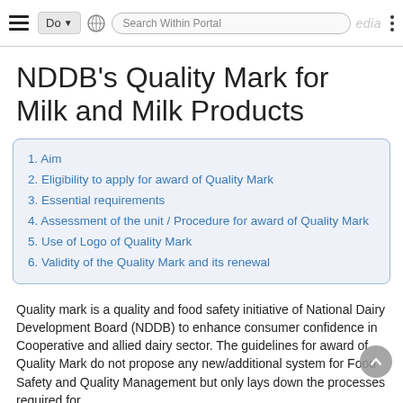Do | Search Within Portal | Wikipedia
NDDB's Quality Mark for Milk and Milk Products
1. Aim
2. Eligibility to apply for award of Quality Mark
3. Essential requirements
4. Assessment of the unit / Procedure for award of Quality Mark
5. Use of Logo of Quality Mark
6. Validity of the Quality Mark and its renewal
Quality mark is a quality and food safety initiative of National Dairy Development Board (NDDB) to enhance consumer confidence in Cooperative and allied dairy sector. The guidelines for award of Quality Mark do not propose any new/additional system for Food Safety and Quality Management but only lays down the processes required for